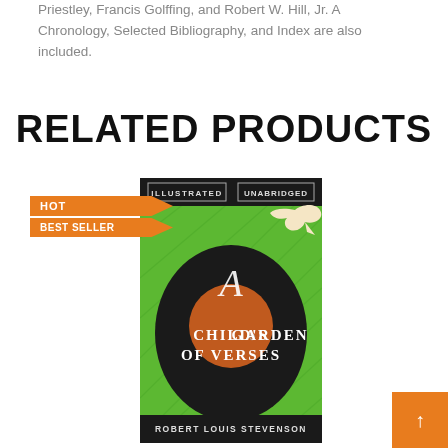Priestley, Francis Golffing, and Robert W. Hill, Jr. A Chronology, Selected Bibliography, and Index are also included.
RELATED PRODUCTS
[Figure (illustration): Book cover of 'A Child's Garden of Verses' by Robert Louis Stevenson — Illustrated, Unabridged edition. Green background with black oval containing orange circle and white text. A white dove is in the upper right. Below the cover is a 'HOT BEST SELLER' badge in orange.]
[Figure (other): Orange scroll-to-top button with upward arrow, bottom right corner.]